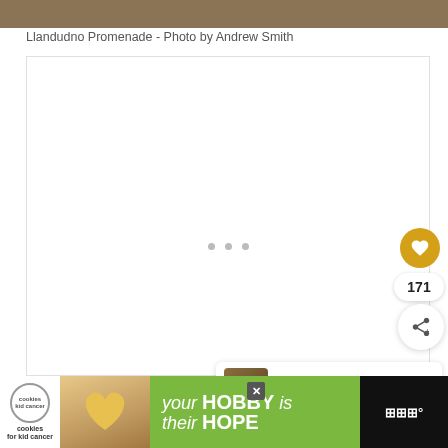[Figure (photo): Top portion of a photo showing Llandudno Promenade, cropped at top of page]
Llandudno Promenade - Photo by Andrew Smith
[Figure (screenshot): White content area with loading dots, a golden heart/like button, count of 171, and share button on the right side]
WHAT'S NEXT → Visit Amsterdam'...
[Figure (photo): Advertisement banner: cookies for kid cancer / your HOBBY is their HOPE]
your HOBBY is their HOPE